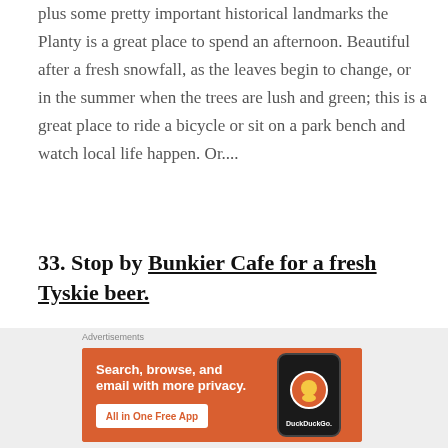plus some pretty important historical landmarks the Planty is a great place to spend an afternoon. Beautiful after a fresh snowfall, as the leaves begin to change, or in the summer when the trees are lush and green; this is a great place to ride a bicycle or sit on a park bench and watch local life happen. Or....
33. Stop by Bunkier Cafe for a fresh Tyskie beer.
[Figure (photo): Partial view of an outdoor photo, dark tones, appears to be a natural/street scene]
Advertisements
[Figure (screenshot): DuckDuckGo advertisement banner with orange background. Text reads: Search, browse, and email with more privacy. All in One Free App. Features a phone with DuckDuckGo logo.]